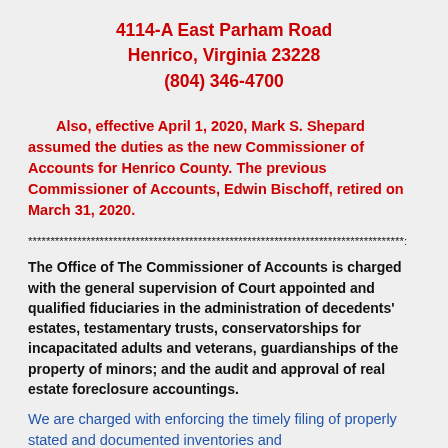4114-A East Parham Road
Henrico, Virginia 23228
(804) 346-4700
Also, effective April 1, 2020, Mark S. Shepard assumed the duties as the new Commissioner of Accounts for Henrico County.  The previous Commissioner of Accounts, Edwin Bischoff, retired on March 31, 2020.
************************************************************************************:
The Office of The Commissioner of Accounts is charged with the general supervision of Court appointed and qualified fiduciaries in the administration of decedents' estates, testamentary trusts, conservatorships for incapacitated adults and veterans, guardianships of the property of minors; and the audit and approval of real estate foreclosure accountings.
We are charged with enforcing the timely filing of properly stated and documented inventories and